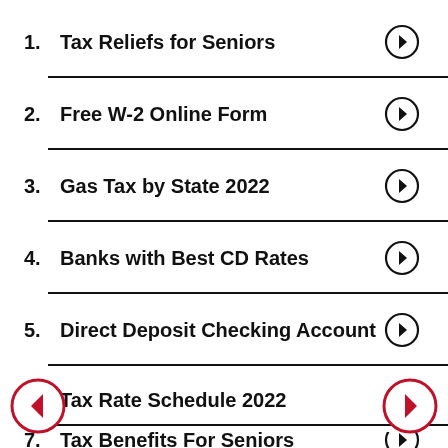1. Tax Reliefs for Seniors
2. Free W-2 Online Form
3. Gas Tax by State 2022
4. Banks with Best CD Rates
5. Direct Deposit Checking Account
6. Tax Rate Schedule 2022
7. Tax Benefits For Seniors (partial)